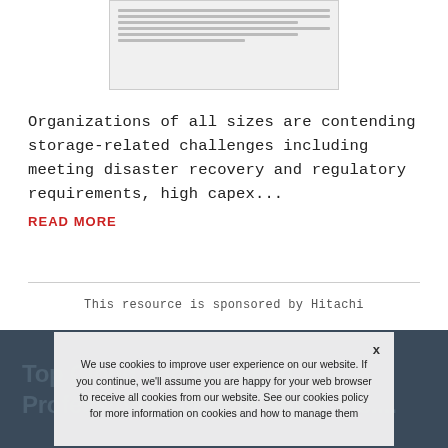[Figure (screenshot): Thumbnail of a document page with horizontal text lines on a light gray background]
Organizations of all sizes are contending storage-related challenges including meeting disaster recovery and regulatory requirements, high capex...
READ MORE
This resource is sponsored by Hitachi
[Figure (logo): Hitachi logo: HITACHI in bold letters, tagline Inspire the Next]
Top Cloud and Managed Professional Storage Solutions....
We use cookies to improve user experience on our website. If you continue, we'll assume you are happy for your web browser to receive all cookies from our website. See our cookies policy for more information on cookies and how to manage them